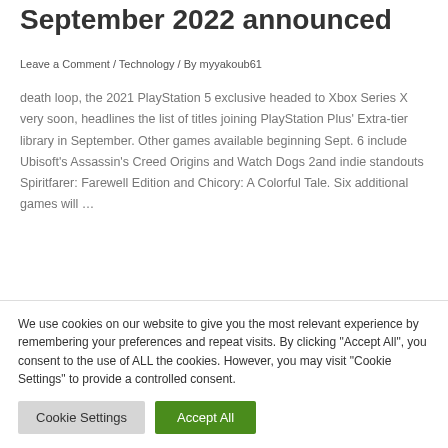September 2022 announced
Leave a Comment / Technology / By myyakoub61
death loop, the 2021 PlayStation 5 exclusive headed to Xbox Series X very soon, headlines the list of titles joining PlayStation Plus' Extra-tier library in September. Other games available beginning Sept. 6 include Ubisoft's Assassin's Creed Origins and Watch Dogs 2and indie standouts Spiritfarer: Farewell Edition and Chicory: A Colorful Tale. Six additional games will …
Read More »
We use cookies on our website to give you the most relevant experience by remembering your preferences and repeat visits. By clicking "Accept All", you consent to the use of ALL the cookies. However, you may visit "Cookie Settings" to provide a controlled consent.